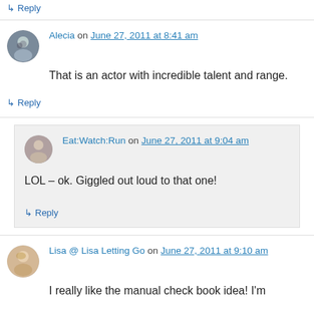↳ Reply
Alecia on June 27, 2011 at 8:41 am
That is an actor with incredible talent and range.
↳ Reply
Eat:Watch:Run on June 27, 2011 at 9:04 am
LOL – ok. Giggled out loud to that one!
↳ Reply
Lisa @ Lisa Letting Go on June 27, 2011 at 9:10 am
I really like the manual check book idea! I'm